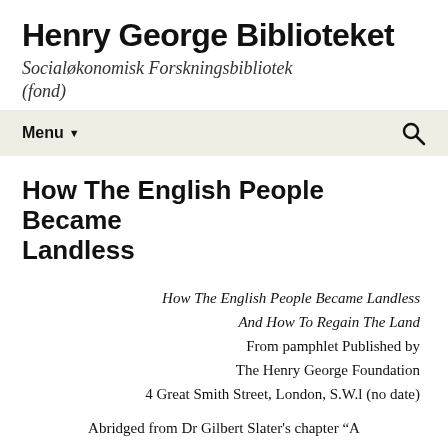Henry George Biblioteket
Socialøkonomisk Forskningsbibliotek (fond)
Menu ▾
How The English People Became Landless
How The English People Became Landless And How To Regain The Land
From pamphlet Published by The Henry George Foundation
4 Great Smith Street, London, S.W.l (no date)
Abridged from Dr Gilbert Slater's chapter "A